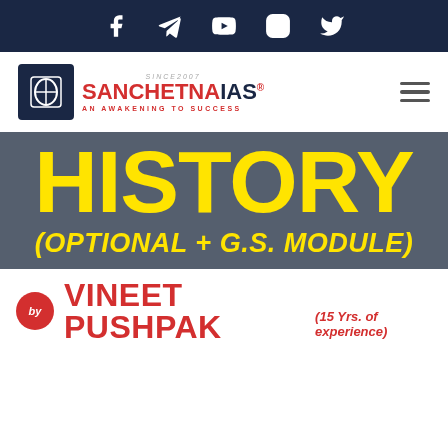[Figure (logo): Social media icons: Facebook, Telegram, YouTube, Instagram, Twitter on dark navy background]
[Figure (logo): Sanchetna IAS logo - red and navy blue branding with tagline AN AWAKENING TO SUCCESS]
HISTORY
(OPTIONAL + G.S. MODULE)
by VINEET PUSHPAK (15 Yrs. of experience)